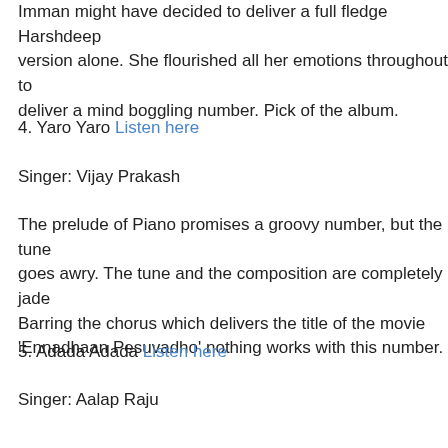Imman might have decided to deliver a full fledge Harshdeep version alone. She flourished all her emotions throughout to deliver a mind boggling number. Pick of the album.
4. Yaro Yaro Listen here
Singer: Vijay Prakash
The prelude of Piano promises a groovy number, but the tune goes awry. The tune and the composition are completely jaded. Barring the chorus which delivers the title of the movie 'Ennadhaan Pesuvadho' nothing works with this number.
5. Adada Adada Listen here
Singer: Aalap Raju
The cordial guitars & Aalap's vocal are very infectious. Imman tries a Latino fusion and succeeds to a great extent. The song expresses a lot of happiness via its lyrics & from the instruments. The flute part that comes at the end of the song is absolutely brilliant. Na. Muthukumar stands out once again with verses li